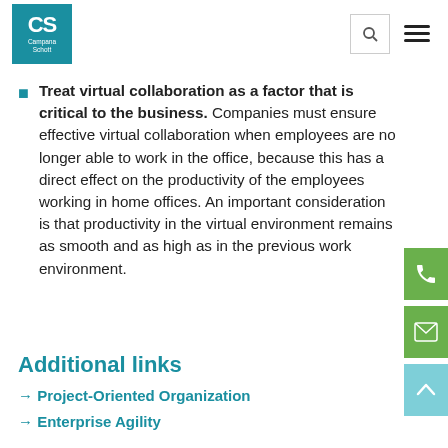[Figure (logo): Campana Schott logo — teal square with white CS letters and company name]
Treat virtual collaboration as a factor that is critical to the business. Companies must ensure effective virtual collaboration when employees are no longer able to work in the office, because this has a direct effect on the productivity of the employees working in home offices. An important consideration is that productivity in the virtual environment remains as smooth and as high as in the previous work environment.
Additional links
→ Project-Oriented Organization
→ Enterprise Agility